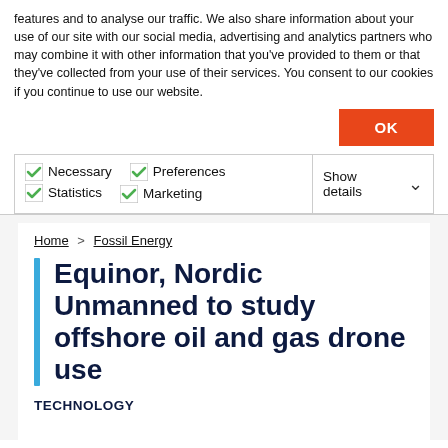features and to analyse our traffic. We also share information about your use of our site with our social media, advertising and analytics partners who may combine it with other information that you've provided to them or that they've collected from your use of their services. You consent to our cookies if you continue to use our website.
OK
Necessary  Preferences  Statistics  Marketing  Show details
Home > Fossil Energy
Equinor, Nordic Unmanned to study offshore oil and gas drone use
TECHNOLOGY